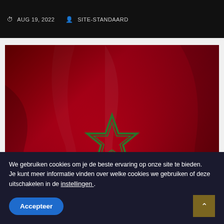AUG 19, 2022  SITE-STANDAARD
[Figure (photo): Moroccan flag draped in red and green, dark dramatic background, used as article card image]
GEEN CATEGORIE
Как 1WIN кинули игрока на 60 лямов рублей
AUG 17, 2022  SITE-STANDAARD
We gebruiken cookies om je de beste ervaring op onze site te bieden.
Je kunt meer informatie vinden over welke cookies we gebruiken of deze uitschakelen in de instellingen .